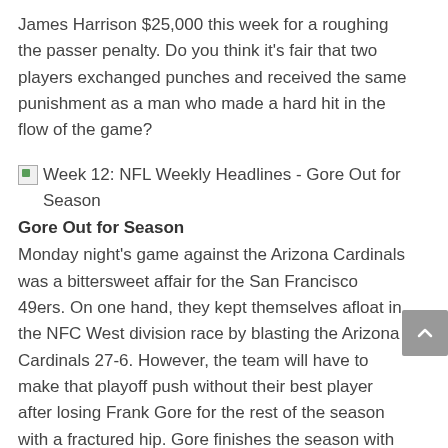James Harrison $25,000 this week for a roughing the passer penalty. Do you think it's fair that two players exchanged punches and received the same punishment as a man who made a hard hit in the flow of the game?
[Figure (other): Small broken image icon placeholder for Week 12: NFL Weekly Headlines - Gore Out for Season]
Week 12: NFL Weekly Headlines - Gore Out for Season
Gore Out for Season
Monday night's game against the Arizona Cardinals was a bittersweet affair for the San Francisco 49ers. On one hand, they kept themselves afloat in the NFC West division race by blasting the Arizona Cardinals 27-6. However, the team will have to make that playoff push without their best player after losing Frank Gore for the rest of the season with a fractured hip. Gore finishes the season with 853 rushing yards and 5 touchdowns.
While news of Gore's injury is certainly a setback for the 49ers, their backup options leave the fans with some hope. Stepping into the starting role now is veteran…